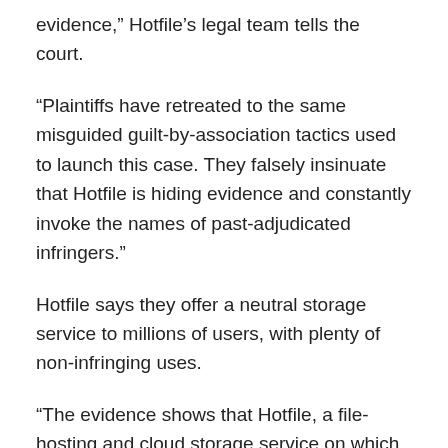evidence,” Hotfile’s legal team tells the court.
“Plaintiffs have retreated to the same misguided guilt-by-association tactics used to launch this case. They falsely insinuate that Hotfile is hiding evidence and constantly invoke the names of past-adjudicated infringers.”
Hotfile says they offer a neutral storage service to millions of users, with plenty of non-infringing uses.
“The evidence shows that Hotfile, a file-hosting and cloud storage service on which millions of people around the world rely, is nothing like Napster or other ‘notorious infringers’ of past cases.”